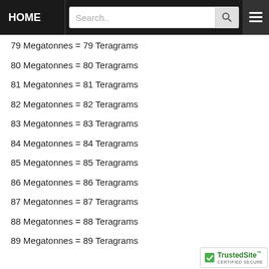HOME | Search..
79 Megatonnes = 79 Teragrams
80 Megatonnes = 80 Teragrams
81 Megatonnes = 81 Teragrams
82 Megatonnes = 82 Teragrams
83 Megatonnes = 83 Teragrams
84 Megatonnes = 84 Teragrams
85 Megatonnes = 85 Teragrams
86 Megatonnes = 86 Teragrams
87 Megatonnes = 87 Teragrams
88 Megatonnes = 88 Teragrams
89 Megatonnes = 89 Teragrams